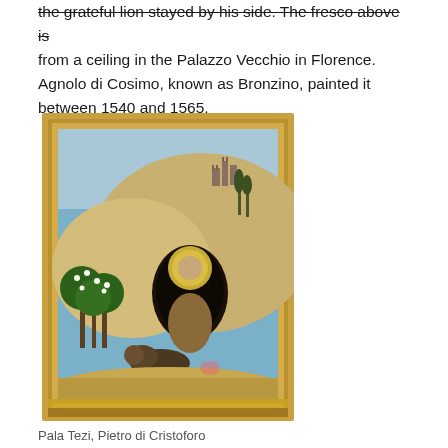the grateful lion stayed by his side. The fresco above is from a ceiling in the Palazzo Vecchio in Florence. Agnolo di Cosimo, known as Bronzino, painted it between 1540 and 1565.
[Figure (photo): A framed painting (Pala Tezi by Pietro di Cristoforo) showing a kneeling saint with a halo in front of a cave entrance in a hilly landscape with trees on the left and a lion resting at the saint's feet. The painting has a gold ornate frame.]
Pala Tezi, Pietro di Cristoforo